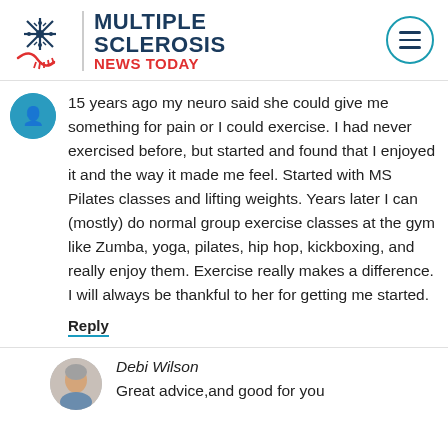[Figure (logo): Multiple Sclerosis News Today logo with snowflake/nerve icon and hamburger menu button]
15 years ago my neuro said she could give me something for pain or I could exercise. I had never exercised before, but started and found that I enjoyed it and the way it made me feel. Started with MS Pilates classes and lifting weights. Years later I can (mostly) do normal group exercise classes at the gym like Zumba, yoga, pilates, hip hop, kickboxing, and really enjoy them. Exercise really makes a difference. I will always be thankful to her for getting me started.
Reply
Debi Wilson
Great advice,and good for you